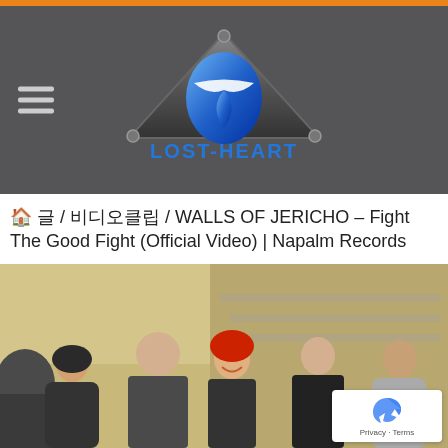[Figure (logo): LOST-HEART website logo: a metallic triangular shield with a blue alien/heart symbol and the text LOST-HEART in blue letters below]
🏠 글 / 비디오클립 / WALLS OF JERICHO – Fight The Good Fight (Official Video) | Napalm Records
[Figure (photo): Band photo of 5 members of Walls of Jericho sitting on what appears to be an industrial setting. From left to right: person in dark hoodie, heavyset bald man in jacket, woman with bright red hair smiling in center, man in dark jacket, man in light hoodie on far right.]